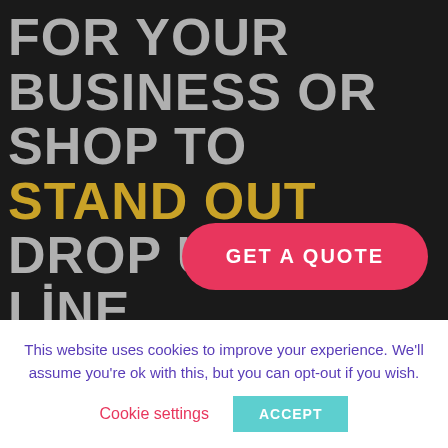FOR YOUR BUSINESS OR SHOP TO STAND OUT DROP US A LINE.
[Figure (other): Pink rounded button with text 'GET A QUOTE']
This website uses cookies to improve your experience. We'll assume you're ok with this, but you can opt-out if you wish.
Cookie settings   ACCEPT